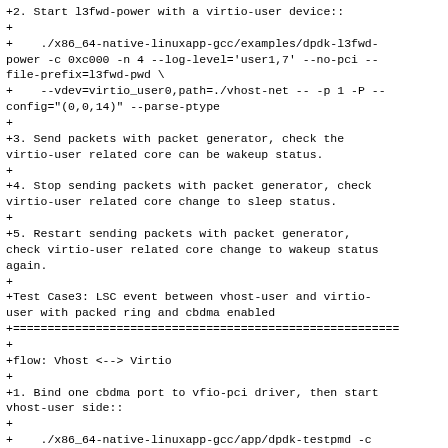+2. Start l3fwd-power with a virtio-user device::
+
+    ./x86_64-native-linuxapp-gcc/examples/dpdk-l3fwd-power -c 0xc000 -n 4 --log-level='user1,7' --no-pci --file-prefix=l3fwd-pwd \
+    --vdev=virtio_user0,path=./vhost-net -- -p 1 -P --config="(0,0,14)" --parse-ptype
+
+3. Send packets with packet generator, check the virtio-user related core can be wakeup status.
+
+4. Stop sending packets with packet generator, check virtio-user related core change to sleep status.
+
+5. Restart sending packets with packet generator, check virtio-user related core change to wakeup status again.
+
+Test Case3: LSC event between vhost-user and virtio-user with packed ring and cbdma enabled
+========================================================
+
+flow: Vhost <--> Virtio
+
+1. Bind one cbdma port to vfio-pci driver, then start vhost-user side::
+
+    ./x86_64-native-linuxapp-gcc/app/dpdk-testpmd -c 0x3000 -n 4 -a 00:04.0 --file-prefix=vhost --vdev 'net_vhost0,iface=vhost-net,queues=1,client=0,dmas-